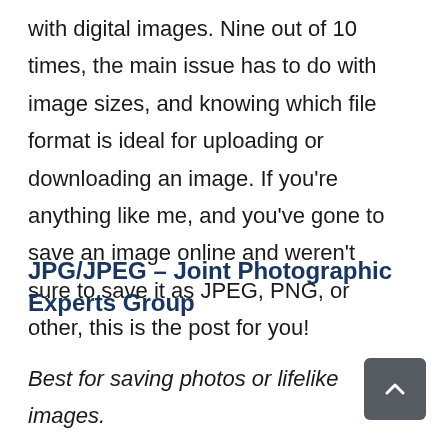with digital images. Nine out of 10 times, the main issue has to do with image sizes, and knowing which file format is ideal for uploading or downloading an image. If you're anything like me, and you've gone to save an image online and weren't sure to save it as JPEG, PNG, or other, this is the post for you!
JPG/JPEG – Joint Photographic Experts Group
Best for saving photos or lifelike images.